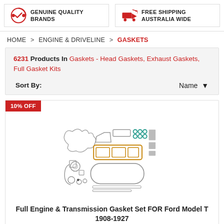[Figure (infographic): Two banner icons: left shows a gear/checkmark with text GENUINE QUALITY BRANDS, right shows a delivery truck with text FREE SHIPPING AUSTRALIA WIDE]
HOME > ENGINE & DRIVELINE > GASKETS
6231 Products In Gaskets - Head Gaskets, Exhaust Gaskets, Full Gasket Kits
Sort By: Name
[Figure (photo): Full engine gasket set product image showing various gaskets and seals spread out]
Full Engine & Transmission Gasket Set FOR Ford Model T 1908-1927